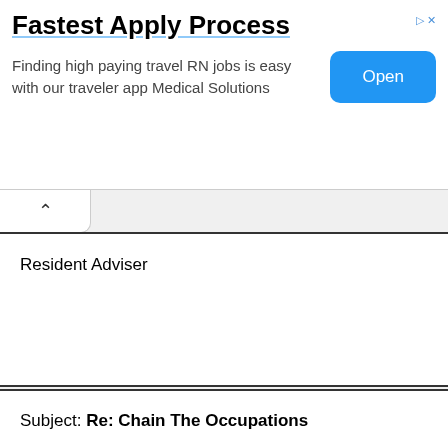[Figure (screenshot): Advertisement banner: 'Fastest Apply Process' with text 'Finding high paying travel RN jobs is easy with our traveler app Medical Solutions' and an 'Open' button]
Resident Adviser
Subject: Re: Chain The Occupations
Written By: Philip Eno on 11/20/07 at 1:54 pm
Rent Collector
Subject: Re: Chain The Occupations
Written By: Matthias on 11/20/07 at 11:29 pm